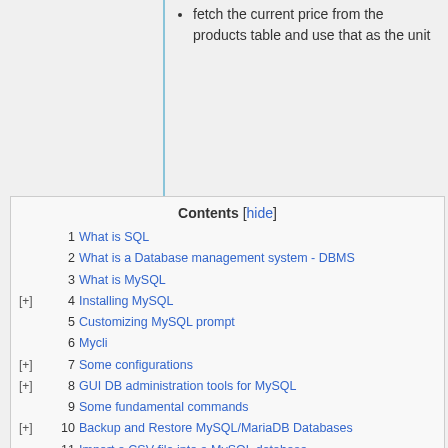fetch the current price from the products table and use that as the unit
Contents [hide]
1  What is SQL
2  What is a Database management system - DBMS
3  What is MySQL
[+] 4  Installing MySQL
5  Customizing MySQL prompt
6  Mycli
[+] 7  Some configurations
[+] 8  GUI DB administration tools for MySQL
9  Some fundamental commands
[+] 10  Backup and Restore MySQL/MariaDB Databases
11  Import a CSV file into a MySQL database
12  Reset the MySQL/MariaDB Password
13  Databases Authentication and Authorization
14  Creación de una base de datos de prueba en MySQL
15  SQL Practice Lab 1